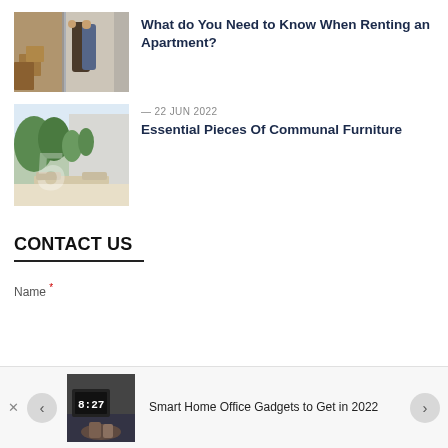[Figure (photo): Photo of two people with moving boxes in doorway]
What do You Need to Know When Renting an Apartment?
[Figure (photo): Outdoor patio furniture scene with number 5 overlay]
— 22 JUN 2022
5 Essential Pieces Of Communal Furniture
CONTACT US
Name *
[Figure (photo): Smart home office gadgets photo showing clock display 8:27]
Smart Home Office Gadgets to Get in 2022